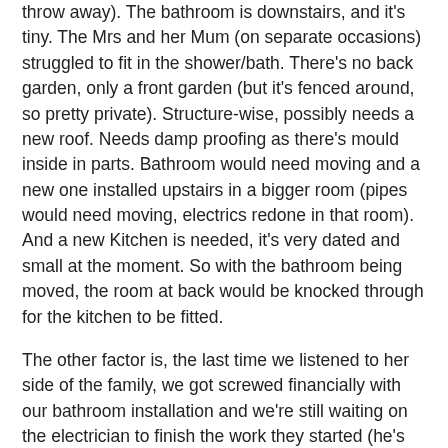throw away). The bathroom is downstairs, and it's tiny. The Mrs and her Mum (on separate occasions) struggled to fit in the shower/bath. There's no back garden, only a front garden (but it's fenced around, so pretty private). Structure-wise, possibly needs a new roof. Needs damp proofing as there's mould inside in parts. Bathroom would need moving and a new one installed upstairs in a bigger room (pipes would need moving, electrics redone in that room). And a new Kitchen is needed, it's very dated and small at the moment. So with the bathroom being moved, the room at back would be knocked through for the kitchen to be fitted.
The other factor is, the last time we listened to her side of the family, we got screwed financially with our bathroom installation and we're still waiting on the electrician to finish the work they started (he's no cost as it's being paid by her step Dad, but that's not the point).
On the financial side of it, we probably couldn't afford moving again so soon. We'd need legal fees and all that to cover the costs. And as we've just moved, those costs would possibly be swallowed with what we'd get back so far. Then, have to factor in the structural and cosmetic costs too.
If we were still renting and didn't already own this house i'd probably